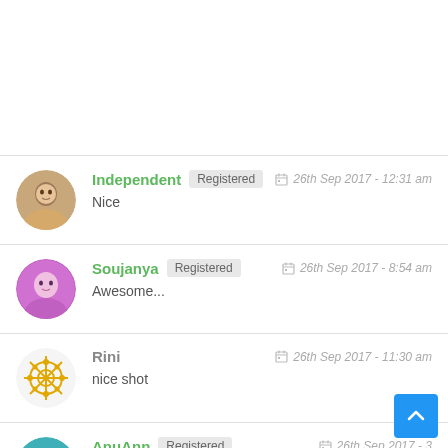Independent Registered | 26th Sep 2017 - 12:31 am | Nice
Soujanya Registered | 26th Sep 2017 - 8:54 am | Awesome...
Rini | 26th Sep 2017 - 11:30 am | nice shot
AnuAnn Registered | 26th Sep 2017 - 3...